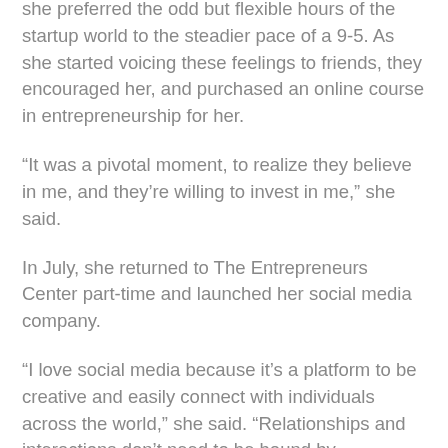University of Dayton. But she quickly realized that she preferred the odd but flexible hours of the startup world to the steadier pace of a 9-5. As she started voicing these feelings to friends, they encouraged her, and purchased an online course in entrepreneurship for her.
“It was a pivotal moment, to realize they believe in me, and they’re willing to invest in me,” she said.
In July, she returned to The Entrepreneurs Center part-time and launched her social media company.
“I love social media because it’s a platform to be creative and easily connect with individuals across the world,” she said. “Relationships and interactions don’t need to be bound by geography, social media makes connecting with others remotely